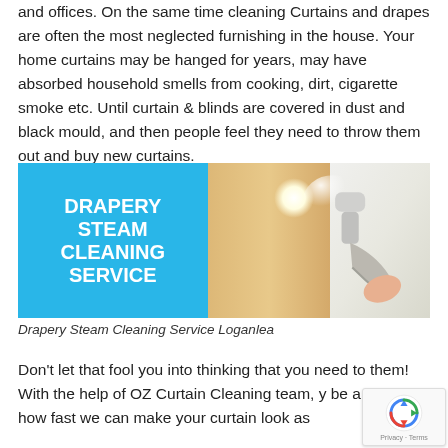and offices. On the same time cleaning Curtains and drapes are often the most neglected furnishing in the house. Your home curtains may be hanged for years, may have absorbed household smells from cooking, dirt, cigarette smoke etc. Until curtain & blinds are covered in dust and black mould, and then people feel they need to throw them out and buy new curtains.
[Figure (photo): Promotional image for Drapery Steam Cleaning Service. Left half has a cyan/blue background with bold white text reading 'DRAPERY STEAM CLEANING SERVICE'. Right half shows a photo of a hand holding a steam cleaner being applied to cream/beige curtains near a window.]
Drapery Steam Cleaning Service Loganlea
Don't let that fool you into thinking that you need to them! With the help of OZ Curtain Cleaning team, y be amazed at how fast we can make your curtain look as